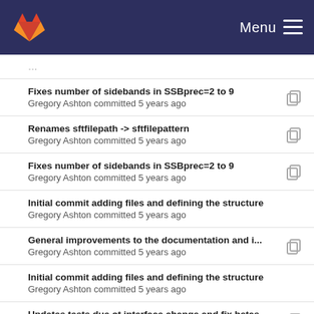GitLab — Menu
Fixes number of sidebands in SSBprec=2 to 9
Gregory Ashton committed 5 years ago
Renames sftfilepath -> sftfilepattern
Gregory Ashton committed 5 years ago
Fixes number of sidebands in SSBprec=2 to 9
Gregory Ashton committed 5 years ago
Initial commit adding files and defining the structure
Gregory Ashton committed 5 years ago
General improvements to the documentation and i...
Gregory Ashton committed 5 years ago
Initial commit adding files and defining the structure
Gregory Ashton committed 5 years ago
Updates tests due ot interface change and fix betas
Gregory Ashton committed 5 years ago